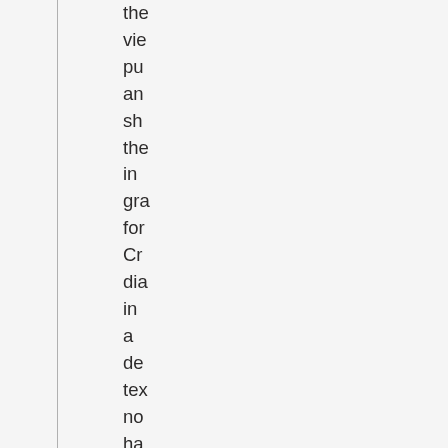the vie pu an sh the in gra for Cr dia in a de tex no ha se ad We